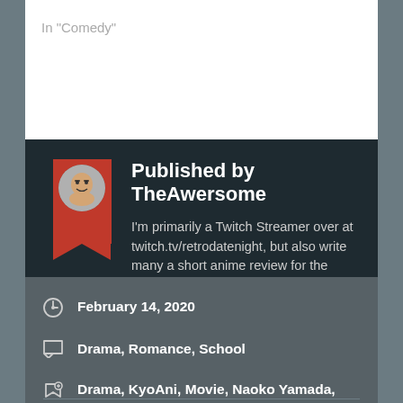In "Comedy"
Published by TheAwersome
I'm primarily a Twitch Streamer over at twitch.tv/retrodatenight, but also write many a short anime review for the fresher weeb.
View all posts by TheAwersome
February 14, 2020
Drama, Romance, School
Drama, KyoAni, Movie, Naoko Yamada, Review, Romance, School